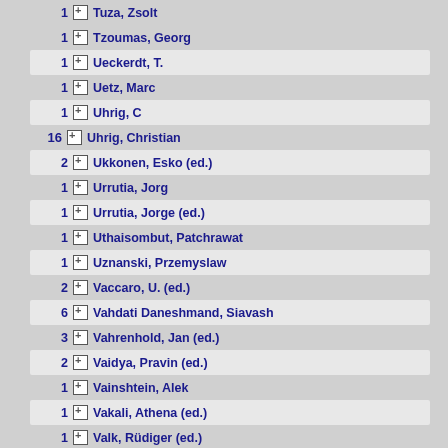1 Tuza, Zsolt
1 Tzoumas, Georg
1 Ueckerdt, T.
1 Uetz, Marc
1 Uhrig, C
16 Uhrig, Christian
2 Ukkonen, Esko (ed.)
1 Urrutia, Jorg
1 Urrutia, Jorge (ed.)
1 Uthaisombut, Patchrawat
1 Uznanski, Przemyslaw
2 Vaccaro, U. (ed.)
6 Vahdati Daneshmand, Siavash
3 Vahrenhold, Jan (ed.)
2 Vaidya, Pravin (ed.)
1 Vainshtein, Alek
1 Vakali, Athena (ed.)
1 Valk, Rüdiger (ed.)
1 Valtr, Pavel
3 van der Hoeven, Joris (ed.)
1 van der Ster, Suzanne
1 van Dyk, David (ed.)